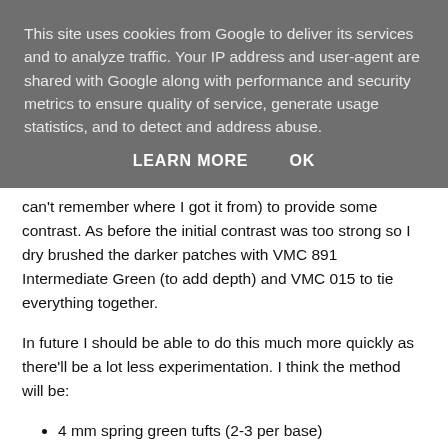This site uses cookies from Google to deliver its services and to analyze traffic. Your IP address and user-agent are shared with Google along with performance and security metrics to ensure quality of service, generate usage statistics, and to detect and address abuse.
LEARN MORE   OK
can't remember where I got it from) to provide some contrast. As before the initial contrast was too strong so I dry brushed the darker patches with VMC 891 Intermediate Green (to add depth) and VMC 015 to tie everything together.
In future I should be able to do this much more quickly as there'll be a lot less experimentation. I think the method will be:
4 mm spring green tufts (2-3 per base)
2 mm tufts (but only because I need to use them up).
Dark green foam scatter.
Regular static grass.